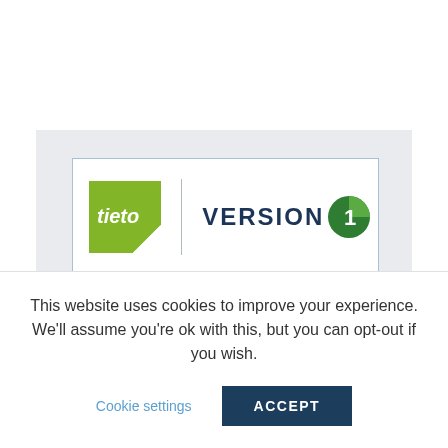[Figure (logo): Tieto and Version 1 combined logo displayed side by side in a bordered white box on a light grey background]
This website uses cookies to improve your experience. We'll assume you're ok with this, but you can opt-out if you wish.
Cookie settings
ACCEPT